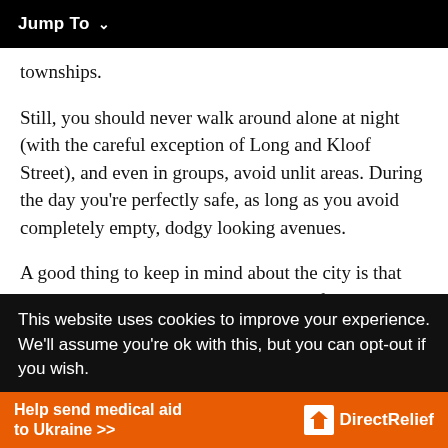Jump To  ∨
townships.
Still, you should never walk around alone at night (with the careful exception of Long and Kloof Street), and even in groups, avoid unlit areas. During the day you're perfectly safe, as long as you avoid completely empty, dodgy looking avenues.
A good thing to keep in mind about the city is that there's quite an economic divide, part of the legacy left from Apartheid for more modern day thinking f…
This website uses cookies to improve your experience. We'll assume you're ok with this, but you can opt-out if you wish.
Help send medical aid to Ukraine >>  DirectRelief